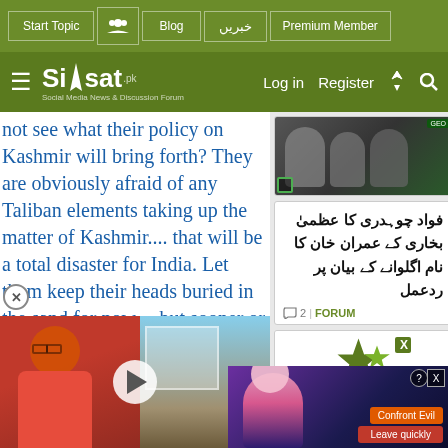Start Topic | Blog | خبریں | Premium Member | Log in | Register
Siasat.pk - Social Media News & Discussion Forum
not see what their policy on Kashmir will bring forth? They are obviously afraid of any Taliban elements taking up the matter of Kashmir.... that will be a total disaster for India. Let them keep their heads buried in the sand for now.... but sooner or later...
e heat at ies.
[Figure (screenshot): Video thumbnail showing a person in red shirt with play button overlay]
[Figure (photo): News article image showing people]
فواد چوہدری کا عظمیٰ بخاری کے عمران خان کا نام اگلوانے کے بیان پر ردعمل
2 | FORUM
[Figure (illustration): Green star graphic / advertisement card]
[Figure (screenshot): Confront advertisement overlay with anime-style image and buttons: Confront Evil, Leave quickly]